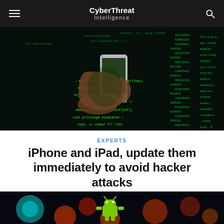CyberThreat Intelligence
[Figure (photo): Hand holding a smartphone in front of a dark screen with green hacker code/matrix-style text overlay]
EXPERTS
iPhone and iPad, update them immediately to avoid hacker attacks
[Figure (photo): Colorful bokeh lights (teal, orange, red) with a green Android robot figurine in the foreground on dark background]